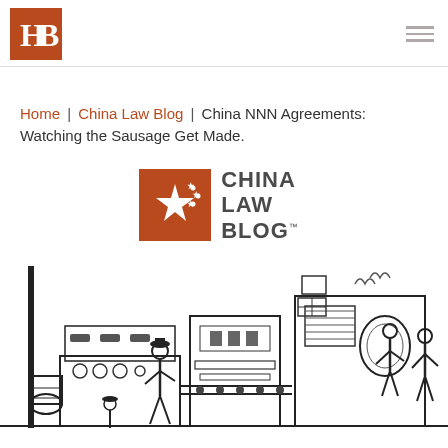HB logo and navigation hamburger menu
Home | China Law Blog | China NNN Agreements: Watching the Sausage Get Made.
[Figure (logo): China Law Blog logo: brown square with white star and dots, followed by text CHINA LAW BLOG with trademark symbol]
[Figure (illustration): Black and white illustration of a industrial factory/sausage-making scene with workers and machinery]